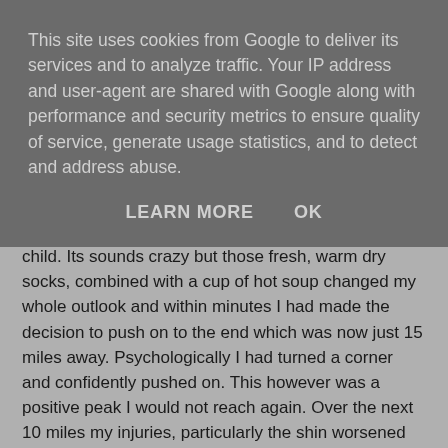This site uses cookies from Google to deliver its services and to analyze traffic. Your IP address and user-agent are shared with Google along with performance and security metrics to ensure quality of service, generate usage statistics, and to detect and address abuse.
LEARN MORE    OK
remove my shoes and change my socks for me like a child. Its sounds crazy but those fresh, warm dry socks, combined with a cup of hot soup changed my whole outlook and within minutes I had made the decision to push on to the end which was now just 15 miles away. Psychologically I had turned a corner and confidently pushed on. This however was a positive peak I would not reach again. Over the next 10 miles my injuries, particularly the shin worsened and bit by bit the increasing pain, the cold and fear of turning my now wrecked ankle again simply broke me down mentally. As I arrived into the last checkpoint and just 5 miles from the end of the race I realised that to continue onto the wet slippery cliffs carrying the injuries I was and in these temperatures was not only foolish but dangerous. My first ultra race had ended.